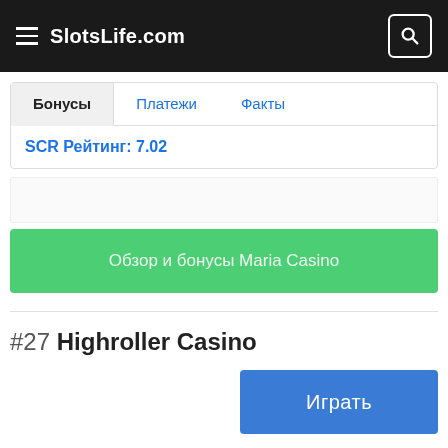SlotsLife.com
Бонусы | Платежи | Факты
SCR Рейтинг: 7.02
Обзор и бонусы Maria Casino
#27 Highroller Casino
Играть
United States
Запрещено